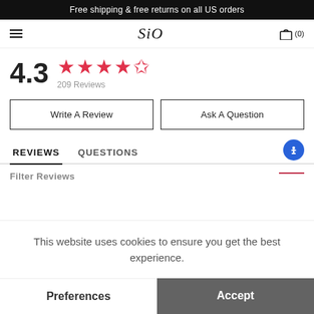Free shipping & free returns on all US orders
SiO (0)
4.3  ★★★★½  209 Reviews
Write A Review
Ask A Question
REVIEWS  QUESTIONS
Filter Reviews
This website uses cookies to ensure you get the best experience.
Preferences
Accept